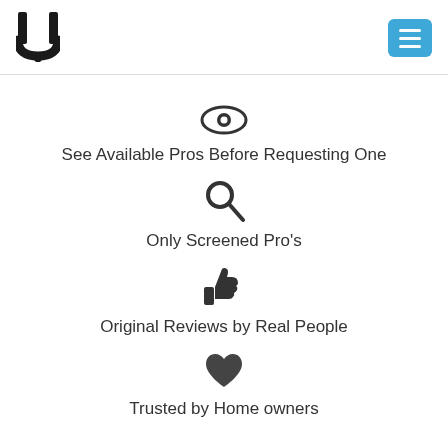[Figure (logo): U-shaped book logo in black]
[Figure (other): Hamburger menu button, blue rounded square with three white horizontal lines]
[Figure (other): Eye icon]
See Available Pros Before Requesting One
[Figure (other): Magnifying glass / search icon]
Only Screened Pro's
[Figure (other): Thumbs up icon]
Original Reviews by Real People
[Figure (other): Heart icon]
Trusted by Home owners